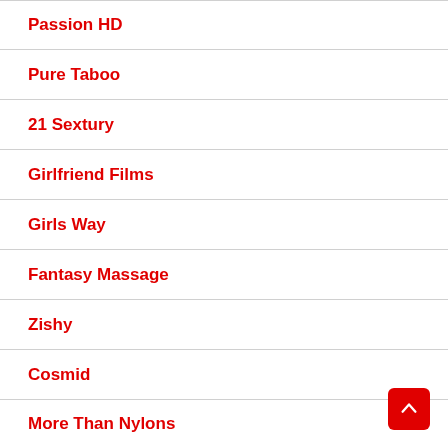Passion HD
Pure Taboo
21 Sextury
Girlfriend Films
Girls Way
Fantasy Massage
Zishy
Cosmid
More Than Nylons